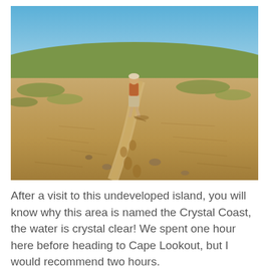[Figure (photo): A person with a backpack walking away on a dry sandy trail through open grassland under a blue sky. Footprints are visible in the sandy foreground.]
After a visit to this undeveloped island, you will know why this area is named the Crystal Coast, the water is crystal clear! We spent one hour here before heading to Cape Lookout, but I would recommend two hours.